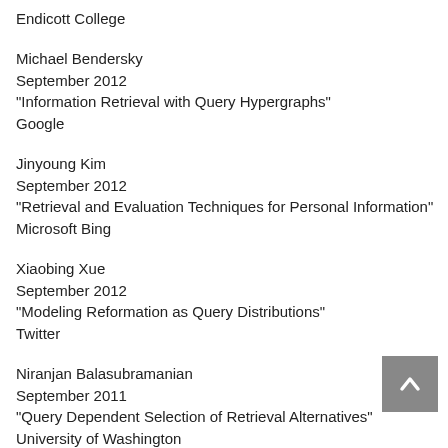Endicott College
Michael Bendersky
September 2012
"Information Retrieval with Query Hypergraphs"
Google
Jinyoung Kim
September 2012
"Retrieval and Evaluation Techniques for Personal Information"
Microsoft Bing
Xiaobing Xue
September 2012
"Modeling Reformation as Query Distributions"
Twitter
Niranjan Balasubramanian
September 2011
"Query Dependent Selection of Retrieval Alternatives"
University of Washington
Xiao Xi...